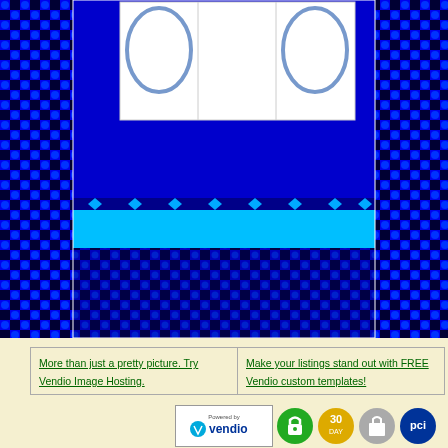[Figure (illustration): Decorative webpage screenshot showing a blue and black checkered/circle pattern border surrounding a dark blue inner area with a white card at the top containing oval/ellipse outlines, a cyan horizontal bar, and lower dark checkered pattern sections]
| More than just a pretty picture. Try Vendio Image Hosting. | Make your listings stand out with FREE Vendio custom templates! |
[Figure (logo): Powered by Vendio logo and four circular badge icons (green lock/secure, orange 30-day, grey shopping bag Shopify, dark blue PCI)]